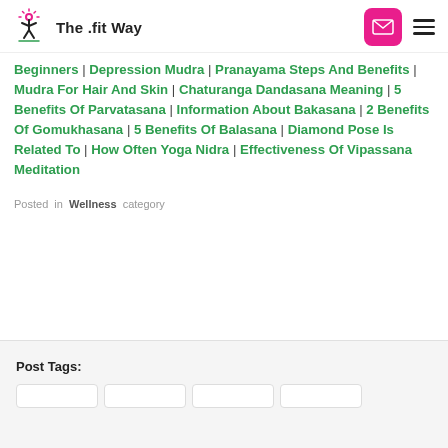The .fit Way
Beginners | Depression Mudra | Pranayama Steps And Benefits | Mudra For Hair And Skin | Chaturanga Dandasana Meaning | 5 Benefits Of Parvatasana | Information About Bakasana | 2 Benefits Of Gomukhasana | 5 Benefits Of Balasana | Diamond Pose Is Related To | How Often Yoga Nidra | Effectiveness Of Vipassana Meditation
Posted in Wellness category
Post Tags: